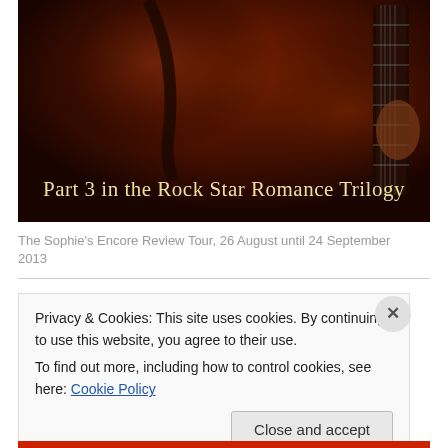[Figure (photo): Book cover image showing a dark, moody photo of a person with a guitar. The cover reads 'Part 3 in the Rock Star Romance Trilogy' in a cursive/script font overlaid on the dark reddish-brown image.]
The Sophie's Encore Review Tour, 26 August until 24 September 2013
Privacy & Cookies: This site uses cookies. By continuing to use this website, you agree to their use.
To find out more, including how to control cookies, see here: Cookie Policy
Close and accept